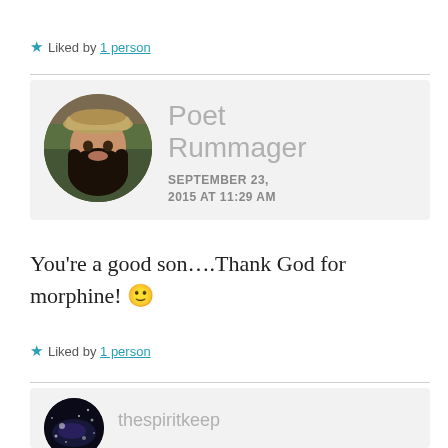★ Liked by 1 person
[Figure (photo): Circular profile photo of Poet Rummager — a woman wearing a tan cap with long dark hair]
Poet Rummager
SEPTEMBER 23, 2015 AT 11:29 AM
You're a good son....Thank God for morphine! 🙂
★ Liked by 1 person
[Figure (photo): Circular profile photo showing a galaxy/space image — partial, cropped at page bottom — next to partial username 'thespiritkeep']